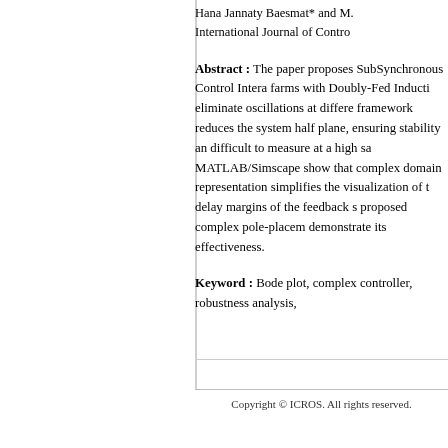Hana Jannaty Baesmat* and M. International Journal of Contro
Abstract : The paper proposes SubSynchronous Control Intera farms with Doubly-Fed Inducti eliminate oscillations at differe framework reduces the system half plane, ensuring stability an difficult to measure at a high sa MATLAB/Simscape show that complex domain representation simplifies the visualization of t delay margins of the feedback s proposed complex pole-placem demonstrate its effectiveness.
Keyword : Bode plot, complex controller, robustness analysis,
Copyright © ICROS. All rights reserved.